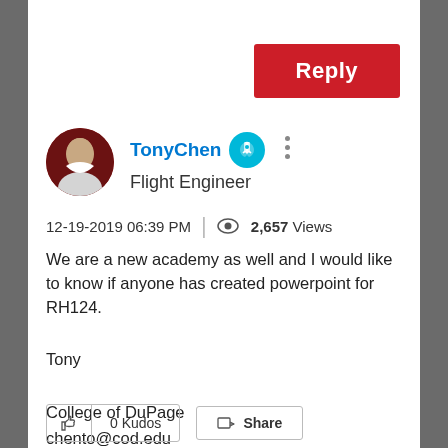Reply
TonyChen  Flight Engineer
12-19-2019 06:39 PM | 2,657 Views
We are a new academy as well and I would like to know if anyone has created powerpoint for RH124.
Tony

College of DuPage
chento@cod.edu
0 Kudos  Share